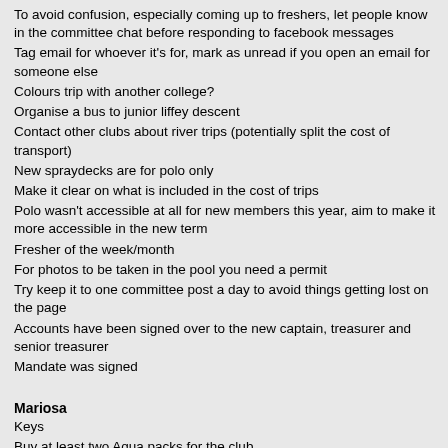To avoid confusion, especially coming up to freshers, let people know in the committee chat before responding to facebook messages
Tag email for whoever it's for, mark as unread if you open an email for someone else
Colours trip with another college?
Organise a bus to junior liffey descent
Contact other clubs about river trips (potentially split the cost of transport)
New spraydecks are for polo only
Make it clear on what is included in the cost of trips
Polo wasn't accessible at all for new members this year, aim to make it more accessible in the new term
Fresher of the week/month
For photos to be taken in the pool you need a permit
Try keep it to one committee post a day to avoid things getting lost on the page
Accounts have been signed over to the new captain, treasurer and senior treasurer
Mandate was signed
Mariosa
Keys
Buy at least two Aqua packs for the club
Try and make sure the bh is kept clean (especially after the ball)
BH cleanup (maybe weekend after naut) - double check inventor: